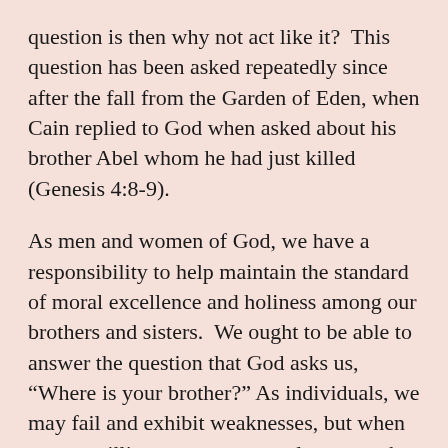question is then why not act like it?  This question has been asked repeatedly since after the fall from the Garden of Eden, when Cain replied to God when asked about his brother Abel whom he had just killed (Genesis 4:8-9).
As men and women of God, we have a responsibility to help maintain the standard of moral excellence and holiness among our brothers and sisters.  We ought to be able to answer the question that God asks us, “Where is your brother?” As individuals, we may fail and exhibit weaknesses, but when we are willing to expose ourselves to each other in moral accountability, we can help them help us (1 Thessalonians 5:10-11).